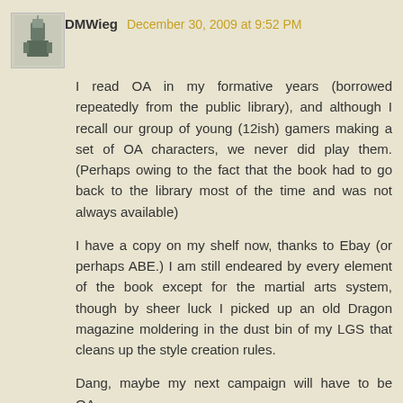DMWieg   December 30, 2009 at 9:52 PM
I read OA in my formative years (borrowed repeatedly from the public library), and although I recall our group of young (12ish) gamers making a set of OA characters, we never did play them. (Perhaps owing to the fact that the book had to go back to the library most of the time and was not always available)
I have a copy on my shelf now, thanks to Ebay (or perhaps ABE.) I am still endeared by every element of the book except for the martial arts system, though by sheer luck I picked up an old Dragon magazine moldering in the dust bin of my LGS that cleans up the style creation rules.
Dang, maybe my next campaign will have to be OA... (OA+OSRIC, that is)
Reply
JD   December 30, 2009 at 10:51 PM